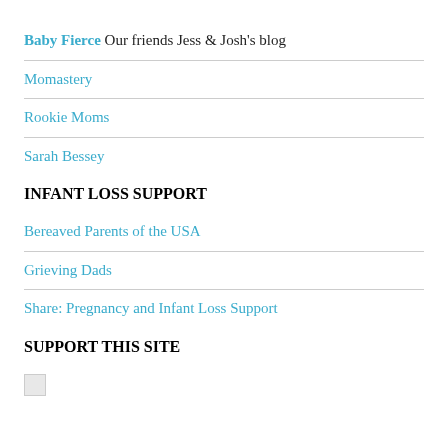Baby Fierce Our friends Jess & Josh's blog
Momastery
Rookie Moms
Sarah Bessey
INFANT LOSS SUPPORT
Bereaved Parents of the USA
Grieving Dads
Share: Pregnancy and Infant Loss Support
SUPPORT THIS SITE
[Figure (other): Broken/placeholder image icon]